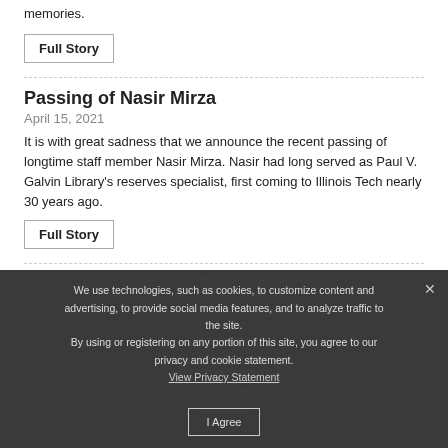memories.
Full Story
Passing of Nasir Mirza
April 15, 2021
It is with great sadness that we announce the recent passing of longtime staff member Nasir Mirza. Nasir had long served as Paul V. Galvin Library's reserves specialist, first coming to Illinois Tech nearly 30 years ago.
Full Story
« Older Entries
© 2022 Illinois Institute of Technology, 10 West 35th Street, Chicago, IL 60616 | Undergraduate Admission Tel 312.567.3025 || Toll Free 800.448.2329 || Graduate Admission Tel 312.567.3020 || Toll Free 866.472.3448 | Contact IIT || Emergency Information
We use technologies, such as cookies, to customize content and advertising, to provide social media features, and to analyze traffic to the site. By using or registering on any portion of this site, you agree to our privacy and cookie statement. View Privacy Statement | I Agree